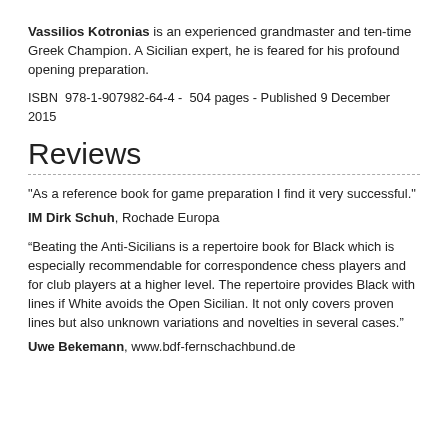Vassilios Kotronias is an experienced grandmaster and ten-time Greek Champion. A Sicilian expert, he is feared for his profound opening preparation.
ISBN  978-1-907982-64-4 -  504 pages - Published 9 December 2015
Reviews
"As a reference book for game preparation I find it very successful."
IM Dirk Schuh, Rochade Europa
“Beating the Anti-Sicilians is a repertoire book for Black which is especially recommendable for correspondence chess players and for club players at a higher level. The repertoire provides Black with lines if White avoids the Open Sicilian. It not only covers proven lines but also unknown variations and novelties in several cases.”
Uwe Bekemann, www.bdf-fernschachbund.de